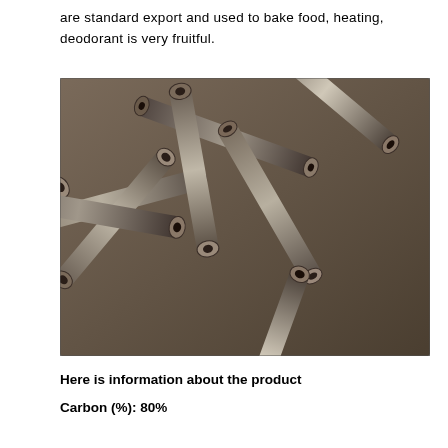are standard export and used to bake food, heating, deodorant is very fruitful.
[Figure (photo): A pile of hexagonal charcoal briquette sticks/logs stacked randomly, showing the cross-section ends with hollow centers, dark grey/brown color.]
Here is information about the product
Carbon (%): 80%